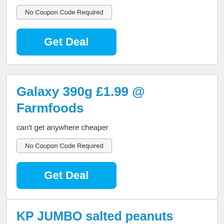No Coupon Code Required
Get Deal
Galaxy 390g £1.99 @ Farmfoods
can't get anywhere cheaper
No Coupon Code Required
Get Deal
KP JUMBO salted peanuts 300g x 2 Farmfoods £1...